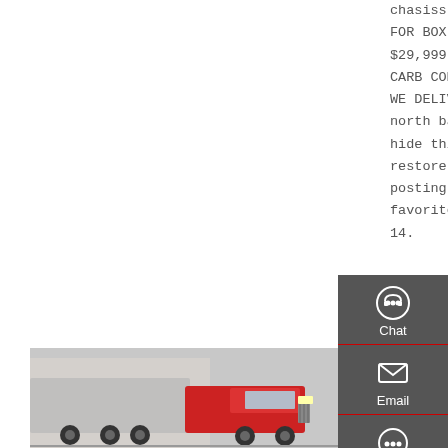chasiss 12,000GVW TRUCK FOR BOX FLATBED DUMP. $29,999 (LOS ANGELES- CARB COMPLIANT TRUCKS- - WE DELIVER-FINANCE-WRNTY north bay / marin hide this posting restore restore this posting. $12,500. favorite this post Oct 14.
Get a Quote
[Figure (photo): Red and white truck cab viewed from the front-left, parked near a building]
LIGHT MEDIUM & HEAVY DUTY